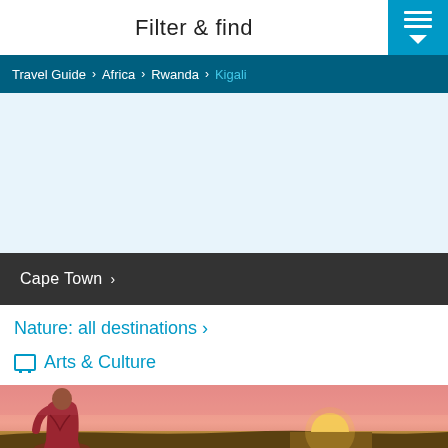Filter & find
Travel Guide > Africa > Rwanda > Kigali
[Figure (other): Light blue advertisement or content placeholder area]
Cape Town >
Nature: all destinations >
Arts & Culture
[Figure (photo): Person in red robe viewed from behind watching a large sun setting on the horizon over a flat savanna landscape with pink-orange sky]